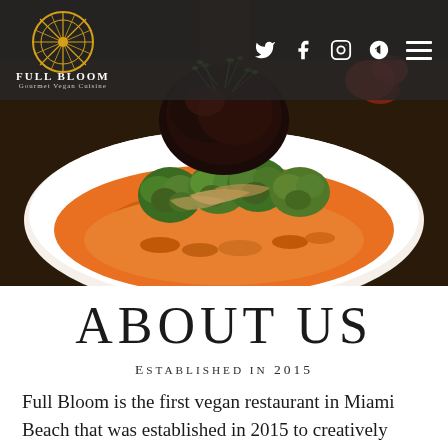[Figure (photo): Close-up photo of a gourmet vegan dish featuring roasted brussels sprouts on orange puree with dark sauce and micro greens on a white plate]
Full Bloom Gourmet Vegan Cuisine — navigation bar with Twitter, Facebook, Instagram, Yelp icons and hamburger menu
ABOUT US
Established in 2015
Full Bloom is the first vegan restaurant in Miami Beach that was established in 2015 to creatively bring vegan dining to a new fresh and delicious